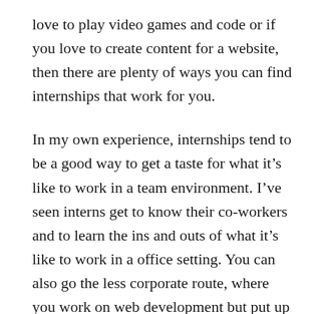love to play video games and code or if you love to create content for a website, then there are plenty of ways you can find internships that work for you.
In my own experience, internships tend to be a good way to get a taste for what it's like to work in a team environment. I've seen interns get to know their co-workers and to learn the ins and outs of what it's like to work in a office setting. You can also go the less corporate route, where you work on web development but put up a website for your company.